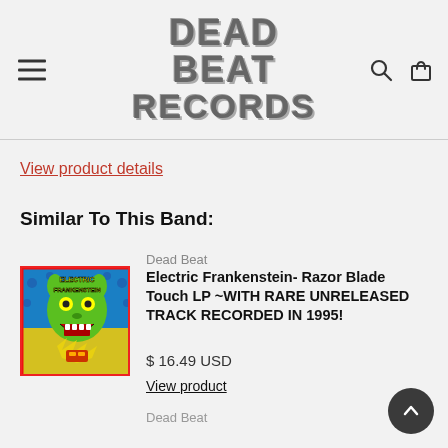Dead Beat Records
View product details
Similar To This Band:
[Figure (illustration): Electric Frankenstein album cover — green monster face with open mouth screaming, yellow lightning bolts, blue and yellow psychedelic background, red border, text 'Electric Frankenstein']
Dead Beat
Electric Frankenstein- Razor Blade Touch LP ~WITH RARE UNRELEASED TRACK RECORDED IN 1995!
$ 16.49 USD
View product
Dead Beat